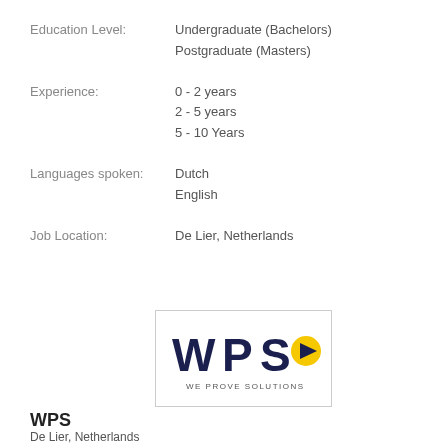Education Level: Undergraduate (Bachelors) Postgraduate (Masters)
Experience: 0 - 2 years 2 - 5 years 5 - 10 Years
Languages spoken: Dutch English
Job Location: De Lier, Netherlands
[Figure (logo): WPS - We Prove Solutions logo with dark blue bold text and a yellow play button icon, with tagline WE PROVE SOLUTIONS]
WPS
De Lier, Netherlands